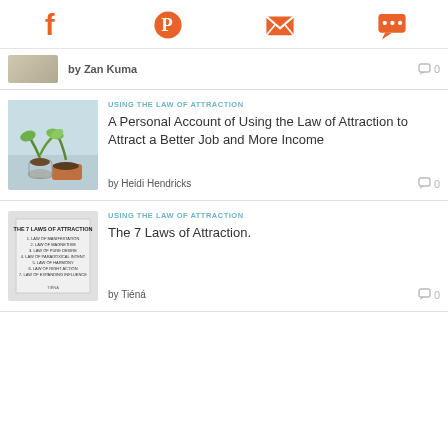Social icons: Facebook, Pinterest, Email, Chat
by Zan Kuma
USING THE LAW OF ATTRACTION
A Personal Account of Using the Law of Attraction to Attract a Better Job and More Income
by Heidi Hendricks  0
USING THE LAW OF ATTRACTION
The 7 Laws of Attraction.
by Tiéná  0